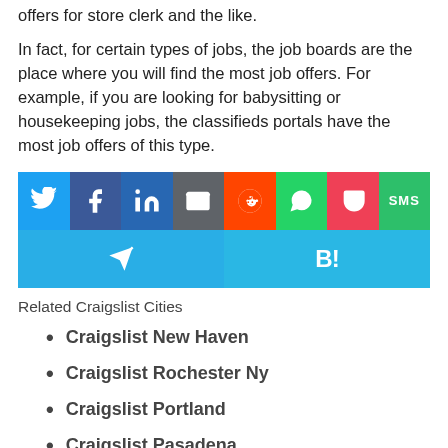offers for store clerk and the like.
In fact, for certain types of jobs, the job boards are the place where you will find the most job offers. For example, if you are looking for babysitting or housekeeping jobs, the classifieds portals have the most job offers of this type.
[Figure (infographic): Row of social share buttons: Twitter (blue), Facebook (dark blue), LinkedIn (blue), Email (gray), Reddit (orange), WhatsApp (green), Pocket (pink-red), SMS (green). Below: Telegram (light blue, left half) and Hatena Bookmark B! (cyan-blue, right half).]
Related Craigslist Cities
Craigslist New Haven
Craigslist Rochester Ny
Craigslist Portland
Craigslist Pasadena